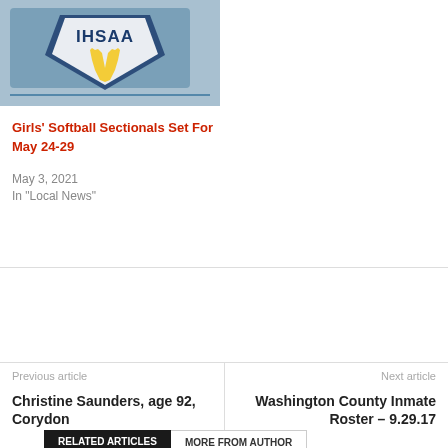[Figure (photo): IHSAA logo with Indiana state silhouette and sports imagery]
Girls' Softball Sectionals Set For May 24-29
May 3, 2021
In "Local News"
[Figure (infographic): Social media share buttons: Facebook, Twitter, Google+, Pinterest, Like 3, Tweet]
Previous article
Christine Saunders, age 92, Corydon
Next article
Washington County Inmate Roster – 9.29.17
RELATED ARTICLES   MORE FROM AUTHOR